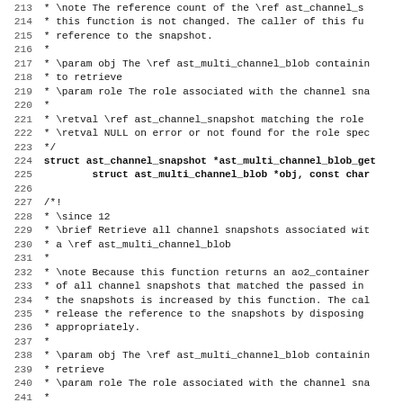Code listing lines 213-244, C documentation comment block showing ast_channel_snapshot and ast_multi_channel_blob API documentation
213  * \note The reference count of the \ref ast_channel_s
214  * this function is not changed. The caller of this fu
215  * reference to the snapshot.
216  *
217  * \param obj The \ref ast_multi_channel_blob containin
218  * to retrieve
219  * \param role The role associated with the channel sna
220  *
221  * \retval \ref ast_channel_snapshot matching the role
222  * \retval NULL on error or not found for the role spec
223  */
224 struct ast_channel_snapshot *ast_multi_channel_blob_get
225         struct ast_multi_channel_blob *obj, const char
226
227 /*!
228  * \since 12
229  * \brief Retrieve all channel snapshots associated wit
230  * a \ref ast_multi_channel_blob
231  *
232  * \note Because this function returns an ao2_container
233  * of all channel snapshots that matched the passed in
234  * the snapshots is increased by this function. The cal
235  * release the reference to the snapshots by disposing
236  * appropriately.
237  *
238  * \param obj The \ref ast_multi_channel_blob containin
239  * retrieve
240  * \param role The role associated with the channel sna
241  *
242  * \retval A container containing all \ref ast_channel_
243  * the role on success.
244  * \retval NULL on error or not found for the role spec